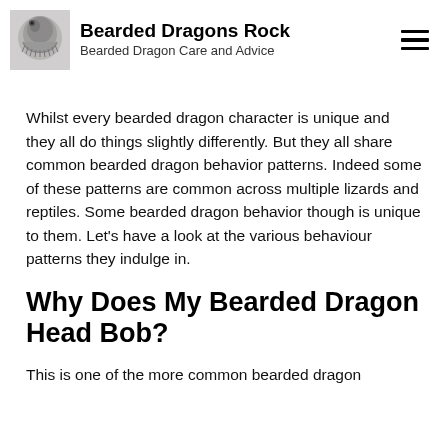Bearded Dragons Rock — Bearded Dragon Care and Advice
Whilst every bearded dragon character is unique and they all do things slightly differently. But they all share common bearded dragon behavior patterns. Indeed some of these patterns are common across multiple lizards and reptiles. Some bearded dragon behavior though is unique to them. Let’s have a look at the various behaviour patterns they indulge in.
Why Does My Bearded Dragon Head Bob?
This is one of the more common bearded dragon